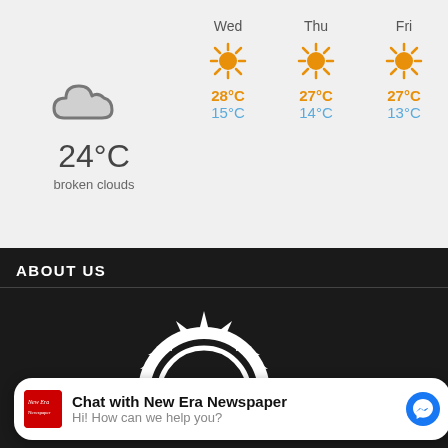[Figure (screenshot): Weather widget showing current weather of 24°C broken clouds and 3-day forecast for Wed, Thu, Fri with sunny icons and high/low temperatures]
ABOUT US
[Figure (logo): NEPC - New Era Publication Corporation logo with sun/arc graphic above large NEPC letters and tagline below]
Chat with New Era Newspaper
Hi! How can we help you?